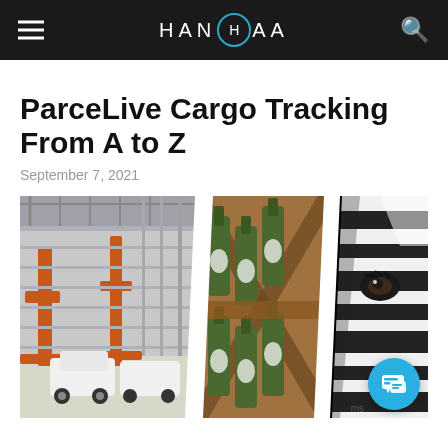HANHAA
ParceLive Cargo Tracking From A to Z
September 7, 2021
[Figure (photo): Composite hero image with three panels: left panel shows a car manufacturing/warehouse facility with orange industrial structures and white vehicles; center panel shows wine bottles in wooden crates; right panel shows a close-up black and white zebra face.]